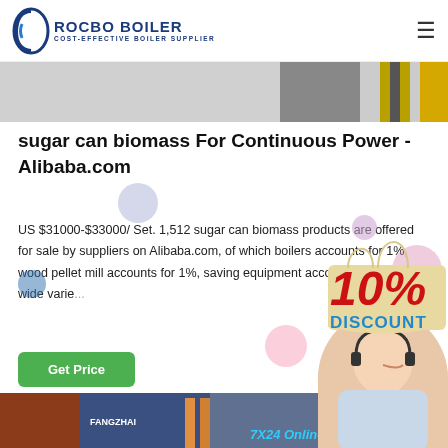ROCBO BOILER - COST-EFFECTIVE BOILER SUPPLIER
[Figure (photo): Top banner image showing industrial boiler equipment with grey and yellow components]
sugar can biomass For Continuous Power - Alibaba.com
US $31000-$33000/ Set. 1,512 sugar can biomass products are offered for sale by suppliers on Alibaba.com, of which boilers accounts for 1%, wood pellet mill accounts for 1%, saving equipment accounts for 1%. A wide varie...
[Figure (infographic): 10% DISCOUNT promotional badge in red and beige with decorative colored balloons]
[Figure (photo): Customer service representative (woman with headset) on right side]
[Figure (photo): Bottom image showing industrial boiler facility with pipes and Fangzhai branding, with 7X24 Online text overlay]